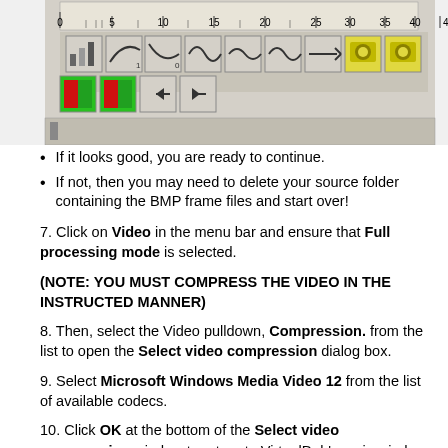[Figure (screenshot): Screenshot of a video editing toolbar with a timeline ruler showing marks at 0, 5, 10, 15, 20, 25, 30, 35, 40, and various toolbar icons including colored icons (yellow, green, red) for video editing controls.]
If it looks good, you are ready to continue.
If not, then you may need to delete your source folder containing the BMP frame files and start over!
7. Click on Video in the menu bar and ensure that Full processing mode is selected.
(NOTE: YOU MUST COMPRESS THE VIDEO IN THE INSTRUCTED MANNER)
8. Then, select the Video pulldown, Compression. from the list to open the Select video compression dialog box.
9. Select Microsoft Windows Media Video 12 from the list of available codecs.
10. Click OK at the bottom of the Select video compression window to return to VirtualDub's main window.
11. If you do not wish to include any audio with the video, proceed to step 14!